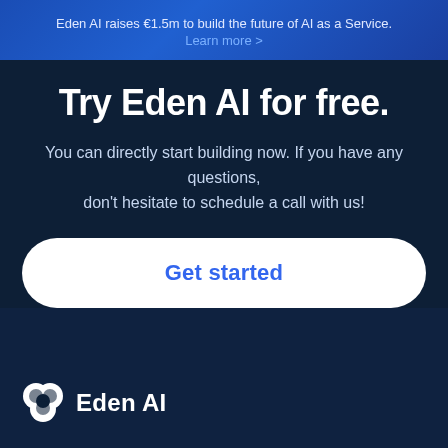Eden AI raises €1.5m to build the future of AI as a Service. Learn more >
Try Eden AI for free.
You can directly start building now. If you have any questions, don't hesitate to schedule a call with us!
Get started
[Figure (logo): Eden AI logo with three overlapping white circles and 'Eden AI' text in white]